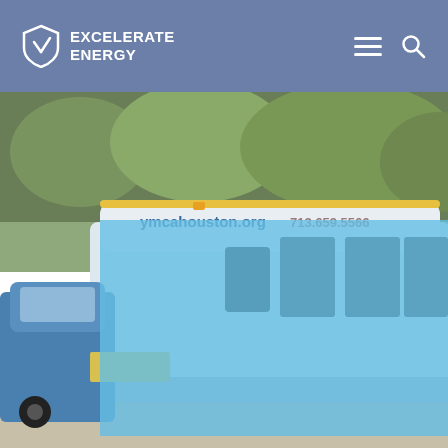EXCELERATE ENERGY
[Figure (photo): A blue YMCA Houston bus or vehicle parked outdoors with green trees in background. The vehicle displays 'ymcahouston.org' and a phone number '713.659.5566'. A blue car is also visible on the left side. A large light-blue semi-transparent overlay box covers the lower-center portion of the image.]